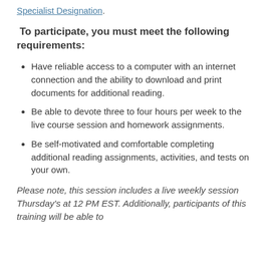Specialist Designation.
To participate, you must meet the following requirements:
Have reliable access to a computer with an internet connection and the ability to download and print documents for additional reading.
Be able to devote three to four hours per week to the live course session and homework assignments.
Be self-motivated and comfortable completing additional reading assignments, activities, and tests on your own.
Please note, this session includes a live weekly session Thursday's at 12 PM EST. Additionally, participants of this training will be able to